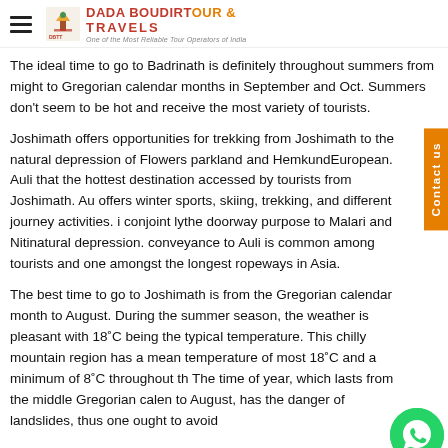DADA BOUDIRT OUR & TRAVELS - One of the Most Reliable Tour Operators of India
The ideal time to go to Badrinath is definitely throughout summers from might to Gregorian calendar months in September and Oct. Summers don't seem to be hot and receive the most variety of tourists.
Joshimath offers opportunities for trekking from Joshimath to the natural depression of Flowers parkland and HemkundEuropean. Auli that the hottest destination accessed by tourists from Joshimath. Au offers winter sports, skiing, trekking, and different journey activities. i conjoint lythe doorway purpose to Malari and Nitinatural depression. conveyance to Auli is common among tourists and one amongst the longest ropeways in Asia.
The best time to go to Joshimath is from the Gregorian calendar month to August. During the summer season, the weather is pleasant with 18˚C being the typical temperature. This chilly mountain region has a mean temperature of most 18˚C and a minimum of 8˚C throughout th The time of year, which lasts from the middle Gregorian calen to August, has the danger of landslides, thus one ought to avoid